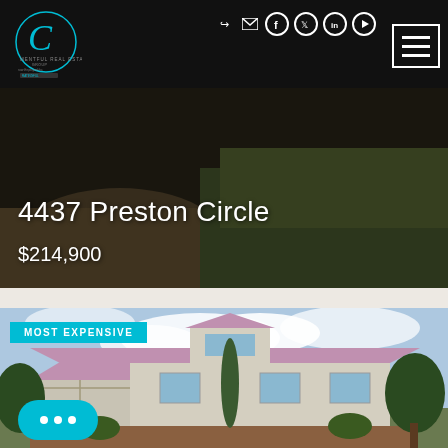[Figure (screenshot): Real estate website header with dark background, company logo on left (Mentful Real Estate Group), navigation social media icons on right (login, mail, facebook, twitter, linkedin, youtube), and hamburger menu button]
[Figure (photo): Property hero image showing outdoor landscape with dirt path and green grass. Text overlay: '4437 Preston Circle' and '$214,900' in white text]
4437 Preston Circle
$214,900
[Figure (photo): Exterior photo of a two-story beige/cream house with purple/mauve trim and roofline, cypress trees in front, brick lower section, surrounded by green trees. Badge label 'MOST EXPENSIVE' in teal/cyan overlay at top left.]
MOST EXPENSIVE
[Figure (other): Teal chat bubble button with three dots at bottom left corner of page]